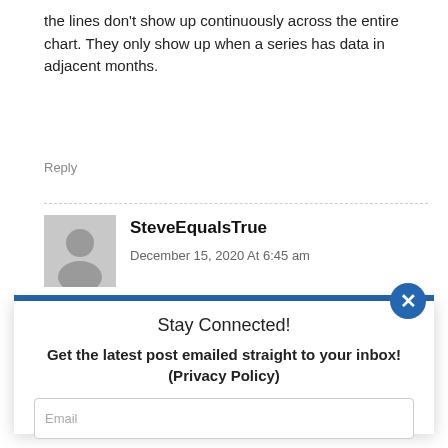the lines don't show up continuously across the entire chart. They only show up when a series has data in adjacent months.
Reply
SteveEqualsTrue
December 15, 2020 At 6:45 am
Stay Connected!
Get the latest post emailed straight to your inbox! (Privacy Policy)
Email
I agree to the privacy policy and terms.
SUBSCRIBE